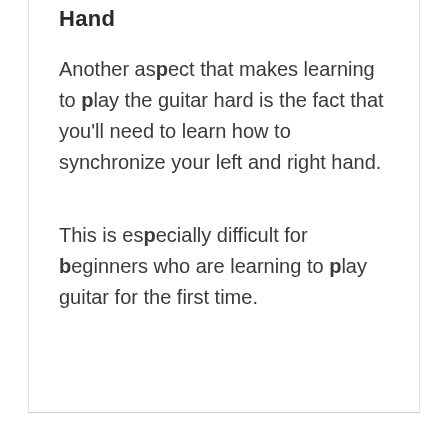Hand
Another aspect that makes learning to play the guitar hard is the fact that you'll need to learn how to synchronize your left and right hand.
This is especially difficult for beginners who are learning to play guitar for the first time.